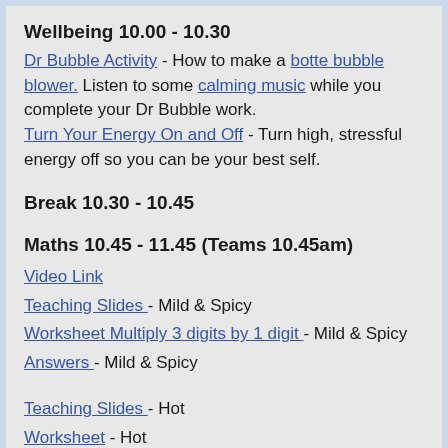Wellbeing 10.00 - 10.30
Dr Bubble Activity - How to make a botte bubble blower. Listen to some calming music while you complete your Dr Bubble work. Turn Your Energy On and Off - Turn high, stressful energy off so you can be your best self.
Break 10.30 - 10.45
Maths 10.45 - 11.45 (Teams 10.45am)
Video Link
Teaching Slides  - Mild & Spicy
Worksheet Multiply 3 digits by 1 digit - Mild & Spicy
Answers - Mild & Spicy
Teaching Slides - Hot
Worksheet - Hot